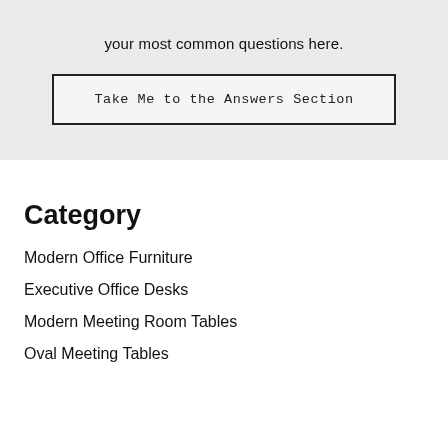your most common questions here.
Take Me to the Answers Section
Category
Modern Office Furniture
Executive Office Desks
Modern Meeting Room Tables
Oval Meeting Tables